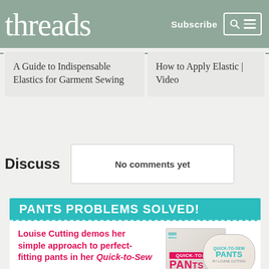threads | Subscribe
A Guide to Indispensable Elastics for Garment Sewing
How to Apply Elastic | Video
Discuss
No comments yet
[Figure (infographic): Pants Problems Solved! promotional box with text: Louise Cutting demos her simple approach to perfect-fitting pants in her Quick-to-Sew, alongside book and DVD imagery for Quick-to-Sew Pants]